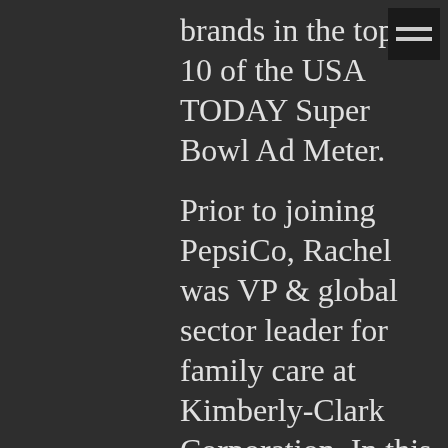[Figure (other): Hamburger menu icon — three horizontal lines on dark background]
brands in the top 10 of the USA TODAY Super Bowl Ad Meter.
Prior to joining PepsiCo, Rachel was VP & global sector leader for family care at Kimberly-Clark Corporation. In this position, she